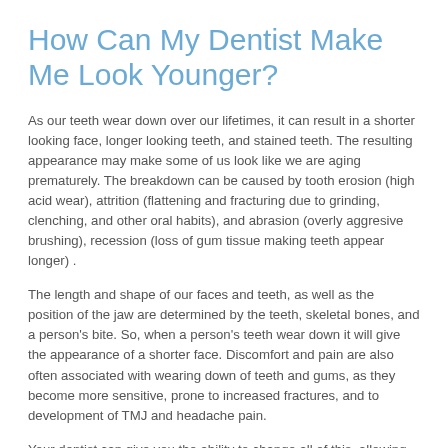How Can My Dentist Make Me Look Younger?
As our teeth wear down over our lifetimes, it can result in a shorter looking face, longer looking teeth, and stained teeth. The resulting appearance may make some of us look like we are aging prematurely. The breakdown can be caused by tooth erosion (high acid wear), attrition (flattening and fracturing due to grinding, clenching, and other oral habits), and abrasion (overly aggresive brushing), recession (loss of gum tissue making teeth appear longer) .
The length and shape of our faces and teeth, as well as the position of the jaw are determined by the teeth, skeletal bones, and a person's bite. So, when a person's teeth wear down it will give the appearance of a shorter face. Discomfort and pain are also often associated with wearing down of teeth and gums, as they become more sensitive, prone to increased fractures, and to development of TMJ and headache pain.
Your dentist can give you the ability to change all of this, allowing